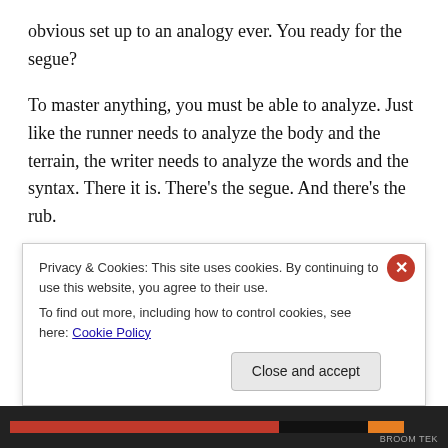obvious set up to an analogy ever. You ready for the segue?
To master anything, you must be able to analyze. Just like the runner needs to analyze the body and the terrain, the writer needs to analyze the words and the syntax. There it is. There’s the segue. And there’s the rub.
If the writer cannot analyze the words and the syntax of his or her own work, they hit the proverbial wall. They reach an insurmountable cliff that cannot be scaled, a hill that…
Privacy & Cookies: This site uses cookies. By continuing to use this website, you agree to their use.
To find out more, including how to control cookies, see here: Cookie Policy